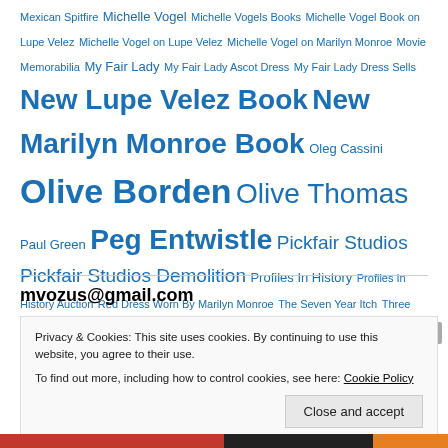Mexican Spitfire Michelle Vogel Michelle Vogels Books Michelle Vogel Book on Lupe Velez Michelle Vogel on Lupe Velez Michelle Vogel on Marilyn Monroe Movie Memorabilia My Fair Lady My Fair Lady Ascot Dress My Fair Lady Dress Sells New Lupe Velez Book New Marilyn Monroe Book Oleg Cassini Olive Borden Olive Thomas Paul Green Peg Entwistle Pickfair Studios Pickfair Studios Demolition Profiles In History Profiles In History Auction Red Dress Worn By Marilyn Monroe The Seven Year Itch Three Twisted tales Tonner Dolls Wasteland Press Whitney Houston Casket Wolf Song
mvozus@gmail.com
Privacy & Cookies: This site uses cookies. By continuing to use this website, you agree to their use.
To find out more, including how to control cookies, see here: Cookie Policy